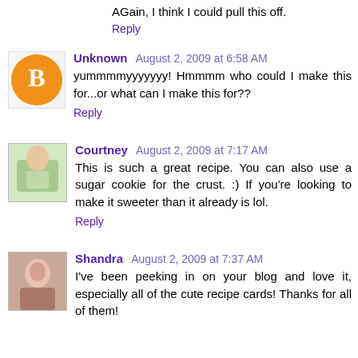AGain, I think I could pull this off.
Reply
Unknown August 2, 2009 at 6:58 AM
yummmmyyyyyyy! Hmmmm who could I make this for...or what can I make this for??
Reply
Courtney August 2, 2009 at 7:17 AM
This is such a great recipe. You can also use a sugar cookie for the crust. :) If you're looking to make it sweeter than it already is lol.
Reply
Shandra August 2, 2009 at 7:37 AM
I've been peeking in on your blog and love it, especially all of the cute recipe cards! Thanks for all of them!